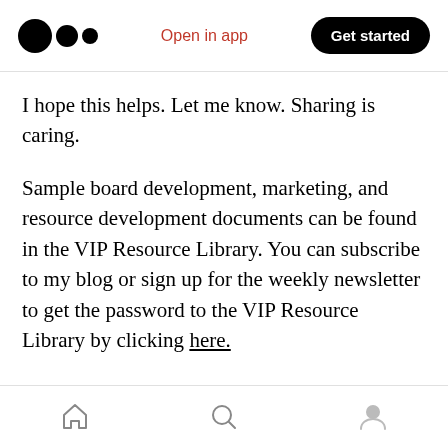Open in app | Get started
I hope this helps. Let me know. Sharing is caring.
Sample board development, marketing, and resource development documents can be found in the VIP Resource Library. You can subscribe to my blog or sign up for the weekly newsletter to get the password to the VIP Resource Library by clicking here.
PLUS, as a SPECIAL BONUS for reading my blog, I am offering a thirty-minute LIVE coaching session with YOURS TRULY…someone with years
Home | Search | Profile